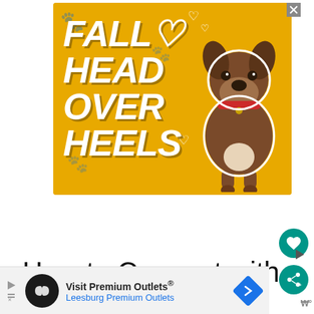[Figure (illustration): Advertisement banner with golden/amber background showing a brindle dog (American Staffordshire Terrier) with a red collar, sitting next to large bold italic white text reading 'FALL HEAD OVER HEELS' with heart symbols. Close button (X) in top right corner.]
How to Connect with
[Figure (illustration): Bottom banner advertisement for 'Visit Premium Outlets® Leesburg Premium Outlets' with a dark circular logo with infinity symbol, a blue diamond direction sign icon, play/skip buttons on left, and a weather widget on right.]